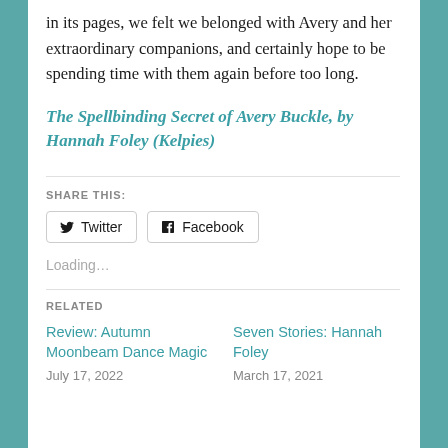in its pages, we felt we belonged with Avery and her extraordinary companions, and certainly hope to be spending time with them again before too long.
The Spellbinding Secret of Avery Buckle, by Hannah Foley (Kelpies)
SHARE THIS:
[Figure (other): Share buttons for Twitter and Facebook]
Loading...
RELATED
Review: Autumn Moonbeam Dance Magic
July 17, 2022
Seven Stories: Hannah Foley
March 17, 2021